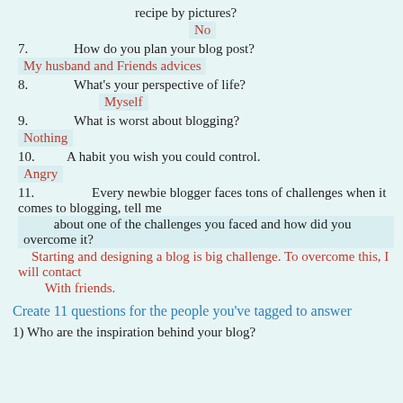recipe by pictures?
No
7.   How do you plan your blog post?
My husband and Friends advices
8.   What's your perspective of life?
Myself
9.   What is worst about blogging?
Nothing
10.  A habit you wish you could control.
Angry
11.  Every newbie blogger faces tons of challenges when it comes to blogging, tell me about one of the challenges you faced and how did you overcome it?
Starting and designing a blog is big challenge. To overcome this, I will contact
With friends.
Create 11 questions for the people you've tagged to answer
1) Who are the inspiration behind your blog?